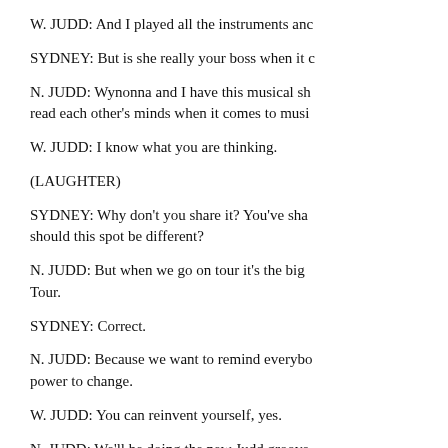W. JUDD: And I played all the instruments anc
SYDNEY: But is she really your boss when it c
N. JUDD: Wynonna and I have this musical sh... read each other's minds when it comes to musi
W. JUDD: I know what you are thinking.
(LAUGHTER)
SYDNEY: Why don't you share it? You've sha... should this spot be different?
N. JUDD: But when we go on tour it's the big ... Tour.
SYDNEY: Correct.
N. JUDD: Because we want to remind everybo... power to change.
W. JUDD: You can reinvent yourself, yes.
N. JUDD: We'll be doing the new Judd groove